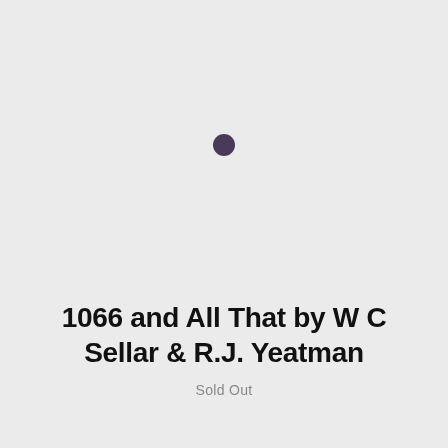[Figure (other): Light gray background with a single small dark purple/indigo filled circle centered slightly above middle of the image area, representing a book cover placeholder or album art.]
1066 and All That by W C Sellar & R.J. Yeatman
Sold Out